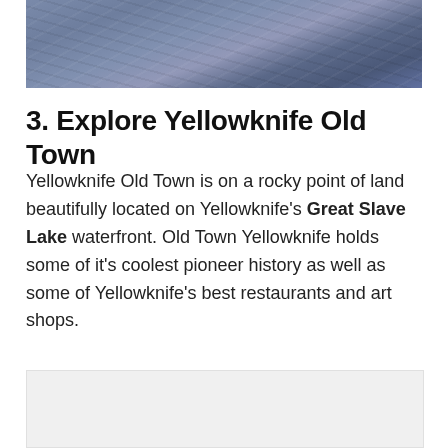[Figure (photo): Aerial or overhead photo of rocky terrain with blue-grey tones, showing textured rock surface]
3. Explore Yellowknife Old Town
Yellowknife Old Town is on a rocky point of land beautifully located on Yellowknife's Great Slave Lake waterfront. Old Town Yellowknife holds some of it's coolest pioneer history as well as some of Yellowknife's best restaurants and art shops.
[Figure (photo): Partial image at bottom of page, appears to be another photo, mostly white/light grey]